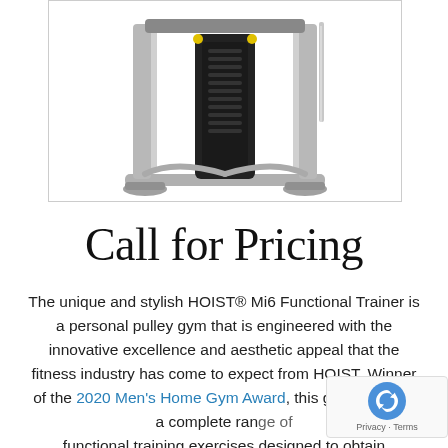[Figure (photo): HOIST Mi6 Functional Trainer gym machine — front view showing silver frame, dual cable pulleys, weight stacks, and black central unit on a wide base]
Call for Pricing
The unique and stylish HOIST® Mi6 Functional Trainer is a personal pulley gym that is engineered with the innovative excellence and aesthetic appeal that the fitness industry has come to expect from HOIST. Winner of the 2020 Men's Home Gym Award, this gym provides a complete range of functional training exercises designed to obtain maximum